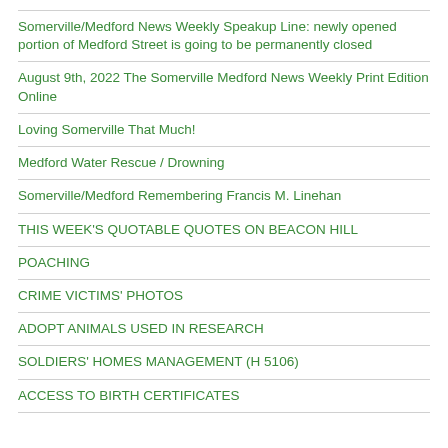Somerville/Medford News Weekly Speakup Line: newly opened portion of Medford Street is going to be permanently closed
August 9th, 2022 The Somerville Medford News Weekly Print Edition Online
Loving Somerville That Much!
Medford Water Rescue / Drowning
Somerville/Medford Remembering Francis M. Linehan
THIS WEEK'S QUOTABLE QUOTES ON BEACON HILL
POACHING
CRIME VICTIMS' PHOTOS
ADOPT ANIMALS USED IN RESEARCH
SOLDIERS' HOMES MANAGEMENT (H 5106)
ACCESS TO BIRTH CERTIFICATES